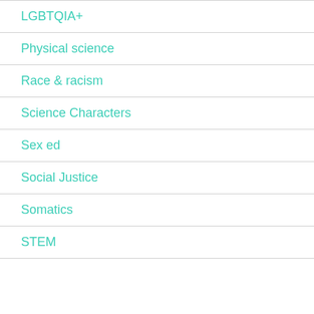LGBTQIA+
Physical science
Race & racism
Science Characters
Sex ed
Social Justice
Somatics
STEM